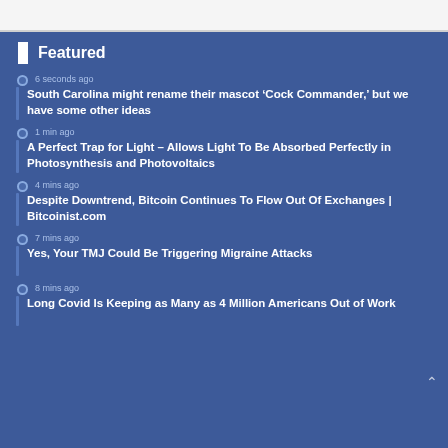Featured
6 seconds ago — South Carolina might rename their mascot ‘Cock Commander,’ but we have some other ideas
1 min ago — A Perfect Trap for Light – Allows Light To Be Absorbed Perfectly in Photosynthesis and Photovoltaics
4 mins ago — Despite Downtrend, Bitcoin Continues To Flow Out Of Exchanges | Bitcoinist.com
7 mins ago — Yes, Your TMJ Could Be Triggering Migraine Attacks
8 mins ago — Long Covid Is Keeping as Many as 4 Million Americans Out of Work